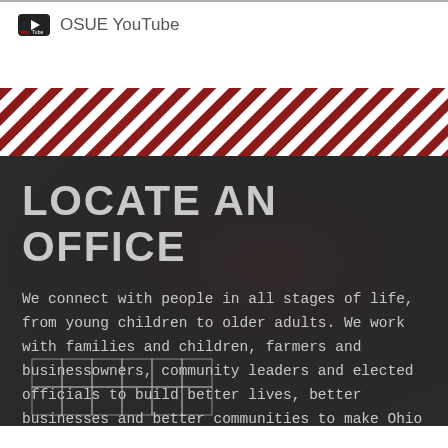OSUE YouTube
[Figure (infographic): Diagonal red and white stripe band dividing sections]
LOCATE AN OFFICE
We connect with people in all stages of life, from young children to older adults. We work with families and children, farmers and businessowners, community leaders and elected officials to build better lives, better businesses and better communities to make Ohio great.
[Figure (map): Partial Ohio county map shown at bottom of page]